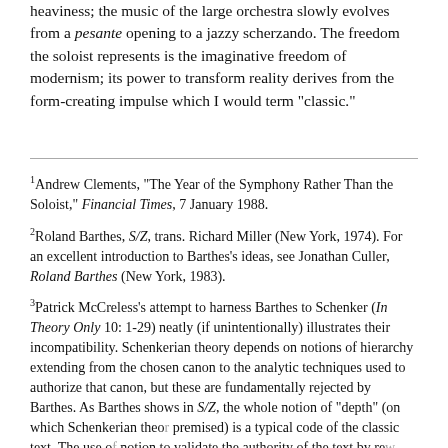heaviness; the music of the large orchestra slowly evolves from a pesante opening to a jazzy scherzando. The freedom the soloist represents is the imaginative freedom of modernism; its power to transform reality derives from the form-creating impulse which I would term "classic."
1 Andrew Clements, "The Year of the Symphony Rather Than the Soloist," Financial Times, 7 January 1988.
2 Roland Barthes, S/Z, trans. Richard Miller (New York, 1974). For an excellent introduction to Barthes's ideas, see Jonathan Culler, Roland Barthes (New York, 1983).
3 Patrick McCreless's attempt to harness Barthes to Schenker (In Theory Only 10: 1-29) neatly (if unintentionally) illustrates their incompatibility. Schenkerian theory depends on notions of hierarchy extending from the chosen canon to the analytic techniques used to authorize that canon, but these are fundamentally rejected by Barthes. As Barthes shows in S/Z, the whole notion of "depth" (on which Schenkerian theo premised) is a typical code of the classic text. The use notion to validate the authority of the text by rew "deep structures" is thus tautological, since the c